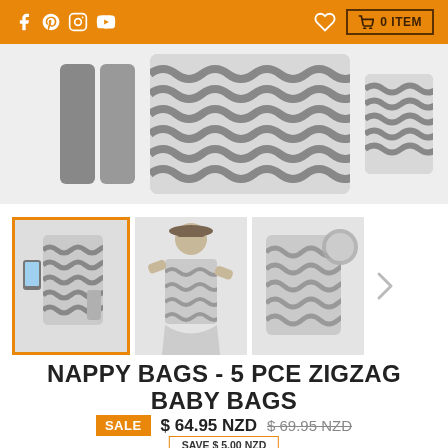Social icons: f, Pinterest, Instagram, YouTube | Heart icon | 0 ITEM cart button
[Figure (photo): Main product image area showing zigzag/chevron pattern nappy bag set with straps]
[Figure (photo): Thumbnail 1 (selected, orange border): Zigzag baby bag set with phone and accessories]
[Figure (photo): Thumbnail 2: Woman wearing zigzag baby backpack]
[Figure (photo): Thumbnail 3: Zigzag baby backpack with circular inset]
NAPPY BAGS - 5 PCE ZIGZAG BABY BAGS
SALE $ 64.95 NZD $ 69.95 NZD
SAVE $ 5.00 NZD